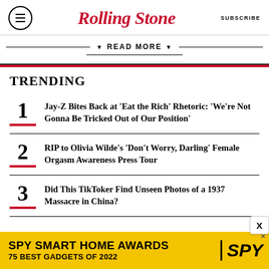Rolling Stone | SUBSCRIBE
▼ READ MORE ▼
TRENDING
Jay-Z Bites Back at 'Eat the Rich' Rhetoric: 'We're Not Gonna Be Tricked Out of Our Position'
RIP to Olivia Wilde's 'Don't Worry, Darling' Female Orgasm Awareness Press Tour
Did This TikToker Find Unseen Photos of a 1937 Massacre in China?
[Figure (screenshot): SPY Smart Home Awards advertisement banner: '75 BEST GADGETS OF 2022']